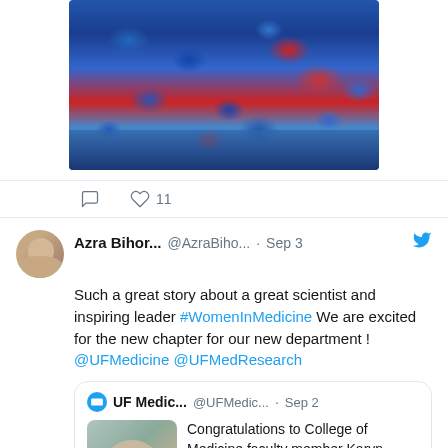[Figure (photo): Crowd photo from a sports stadium showing fans in blue and red]
♡ 11
Azra Bihor... @AzraBiho... · Sep 3  Such a great story about a great scientist and inspiring leader #WomenInMedicine We are excited for the new chapter for our new department ! @UFMedicine @UFMedResearch
[Figure (photo): Quoted tweet from UF Medicine: Congratulations to College of Medicine faculty member Karyn Esser, Ph.D., on becoming the first chair of our new department of ...]
♡ 1  24